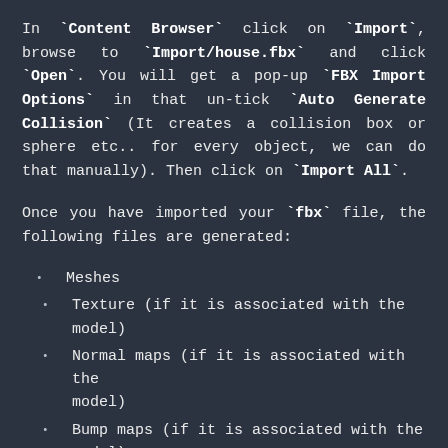In `Content Browser` click on `Import`, browse to `Import/house.fbx` and click `Open`. You will get a pop-up `FBX Import Options` in that un-tick `Auto Generate Collision` (It creates a collision box or sphere etc.. for every object, we can do that manually). Then click on `Import All`.
Once you have imported your `fbx` file, the following files are generated:
Meshes
Texture (if it is associated with the model)
Normal maps (if it is associated with the model)
Bump maps (if it is associated with the model)
What I have done is that I have separated these